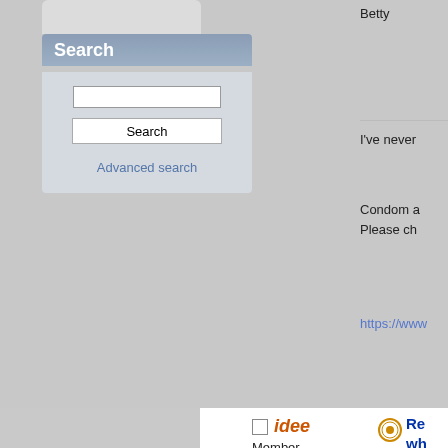Search
Advanced search
Betty
I've never
Condom a
Please ch
https://www
idee
Member
Posts: 319
Hi...
Re
wh
« Reply #2
I was en
having s
He denie
Long sto
was hold
I am no l
actress,
hundred
and enjo
Things ta
I read th